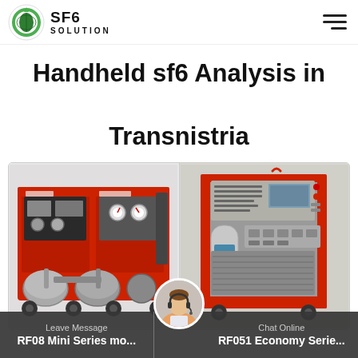SF6 SOLUTION
Handheld sf6 Analysis in Transnistria
[Figure (photo): Red industrial SF6 gas equipment unit with cylinders, gauges and compressor components on wheeled frame]
[Figure (photo): Red and grey industrial SF6 gas recovery/analysis cabinet unit with control panel, screen and ventilation grilles on wheels]
Leave Message   RF08 Mini Series mo...   Chat Online   RF051 Economy Serie...